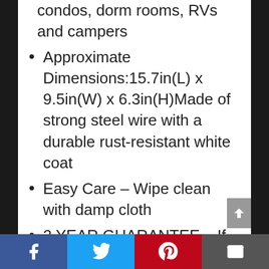condos, dorm rooms, RVs and campers
Approximate Dimensions:15.7in(L) x 9.5in(W) x 6.3in(H)Made of strong steel wire with a durable rust-resistant white coat
Easy Care – Wipe clean with damp cloth
2 YEAR GUARANTEE – If you aren't happy with your purchase for any reason we promise to make it right! Contact us and you will receive a full refund with no hassle and no questions asked!